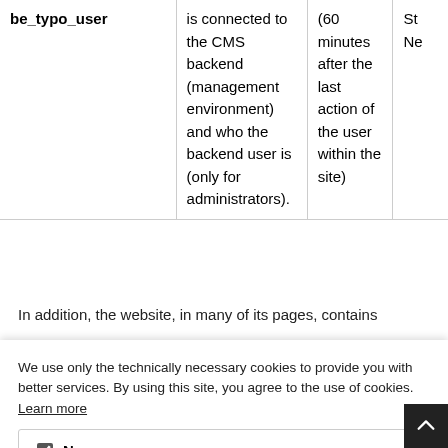| Cookie name | Purpose | Duration | Type |
| --- | --- | --- | --- |
| be_typo_user | is connected to the CMS backend (management environment) and who the backend user is (only for administrators). | (60 minutes after the last action of the user within the site) | St... Ne... |
In addition, the website, in many of its pages, contains
We use only the technically necessary cookies to provide you with better services. By using this site, you agree to the use of cookies. Learn more
Necessary
OK